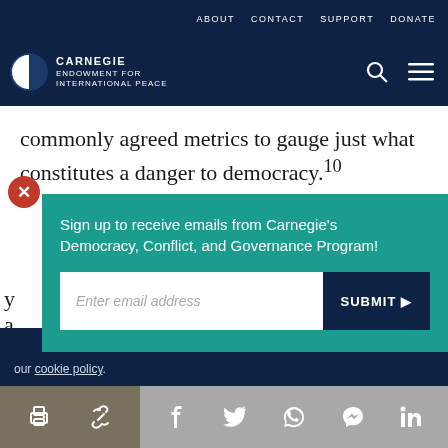ABOUT   CONTACT   SUPPORT   DONATE
[Figure (logo): Carnegie Endowment for International Peace logo with circular icon and white text on dark navy background]
commonly agreed metrics to gauge just what constitutes a danger to democracy.10
Sign up to receive emails from Carnegie's Democracy, Conflict, and Governance Program!
Enter email address
SUBMIT ▶
our cookie policy.
Social share icons: print, link, Facebook, Twitter, WhatsApp, Messenger, LinkedIn